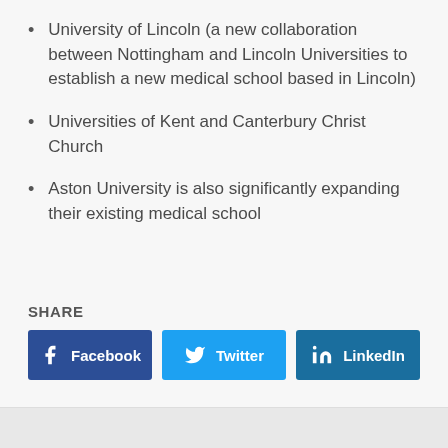University of Lincoln (a new collaboration between Nottingham and Lincoln Universities to establish a new medical school based in Lincoln)
Universities of Kent and Canterbury Christ Church
Aston University is also significantly expanding their existing medical school
SHARE